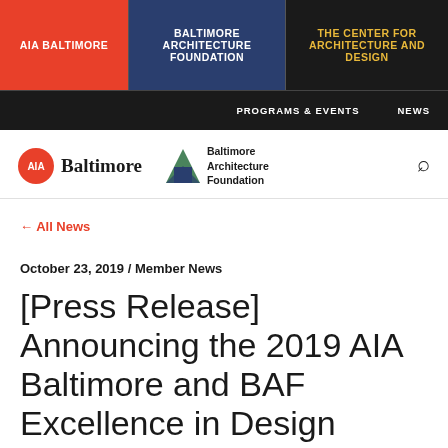AIA BALTIMORE | BALTIMORE ARCHITECTURE FOUNDATION | THE CENTER FOR ARCHITECTURE AND DESIGN
PROGRAMS & EVENTS | NEWS
[Figure (logo): AIA Baltimore logo and Baltimore Architecture Foundation logo with search icon]
← All News
October 23, 2019 / Member News
[Press Release] Announcing the 2019 AIA Baltimore and BAF Excellence in Design Awards